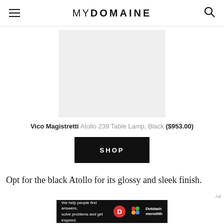MYDOMAINE
[Figure (photo): Light gray placeholder rectangle representing a product image area for the Vico Magistretti Atollo 239 Table Lamp in Black]
Vico Magistretti Atollo 239 Table Lamp, Black ($953.00)
SHOP
Opt for the black Atollo for its glossy and sleek finish.
[Figure (infographic): Dotdash Meredith advertisement banner: 'We help people find answers, solve problems and get inspired.']